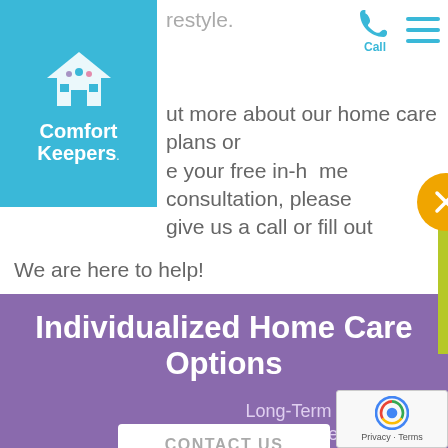[Figure (logo): Comfort Keepers logo with house icon on teal/blue background]
restyle.
ut more about our home care plans or
e your free in-home consultation, please
give us a call or fill out
We are here to help!
[Figure (infographic): Green popup box with text 'Interested in becoming a Caregiver?' and 'Apply Now >>' link, with close (X) button]
Individualized Home Care Options
Long-Term Home Care, 24 Hour Home Care & Short Term Care Options Customized fo
CONTACT US